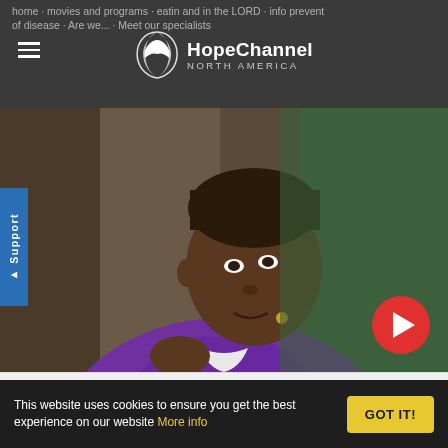HopeChannel NORTH AMERICA
home · movies and programs · eatin and in the LORD · info prevent of disease · Are we... · Meet our specialists
[Figure (screenshot): Video thumbnail showing a man in a purple shirt sitting and talking, with a green background. A red play button is visible in the bottom right of the video frame.]
HOPE SABBATH SCHOOL / APRIL 13, 2014
Lesson 3 - Christ and Religious Tradition (2nd Qtr 2014)
This website uses cookies to ensure you get the best experience on our website More info
GOT IT!